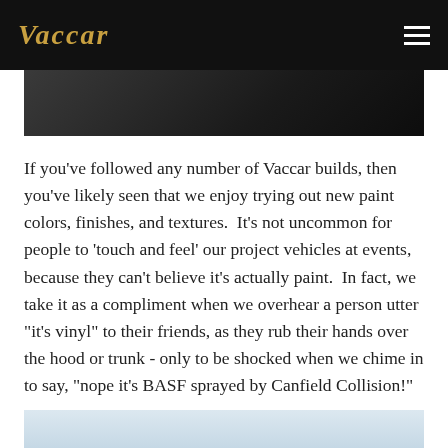Vaccar
[Figure (photo): Dark photo of a vehicle, showing hood or trunk area in dark tones]
If you've followed any number of Vaccar builds, then you've likely seen that we enjoy trying out new paint colors, finishes, and textures.  It's not uncommon for people to 'touch and feel' our project vehicles at events, because they can't believe it's actually paint.  In fact, we take it as a compliment when we overhear a person utter "it's vinyl" to their friends, as they rub their hands over the hood or trunk - only to be shocked when we chime in to say, "nope it's BASF sprayed by Canfield Collision!"
[Figure (photo): Light blue/grey vehicle photo, partially visible at bottom of page]